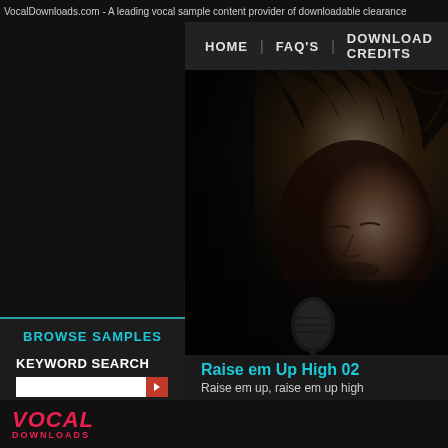VocalDownloads.com - A leading vocal sample content provider of downloadable clearance
HOME | FAQ'S | DOWNLOAD CREDITS
[Figure (photo): Black and white close-up photo of a male singer with dark messy hair, eyes downcast, leaning toward a vintage microphone. Dark dramatic lighting.]
BROWSE SAMPLES
KEYWORD SEARCH
ADVANCED SEARCH
FREE VOCAL SAMPLES
▷ NEW SAMPLES
Raise em Up High 02
Raise em up, raise em up high
VOCAL DOWNLOADS